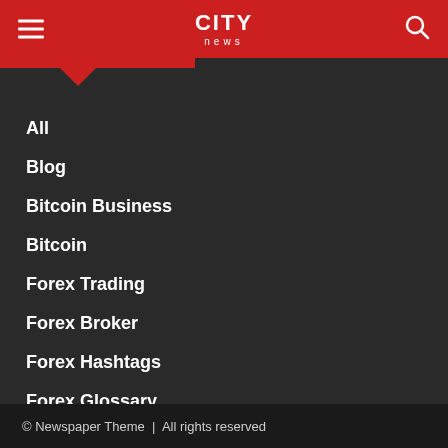CITY news
All
Blog
Bitcoin Business
Bitcoin
Forex Trading
Forex Broker
Forex Hashtags
Forex Glossary
Forex Factory
© Newspaper Theme  |  All rights reserved